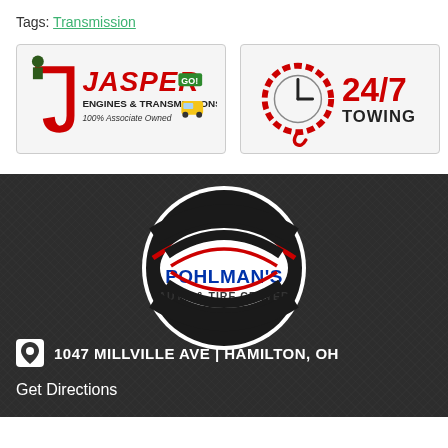Tags: Transmission
[Figure (logo): Jasper Engines & Transmissions logo - 100% Associate Owned]
[Figure (logo): 24/7 Towing logo with clock and chain icon]
[Figure (logo): Pohlman's Auto & Tire Center circular logo on dark background]
1047 MILLVILLE AVE | HAMILTON, OH
Get Directions